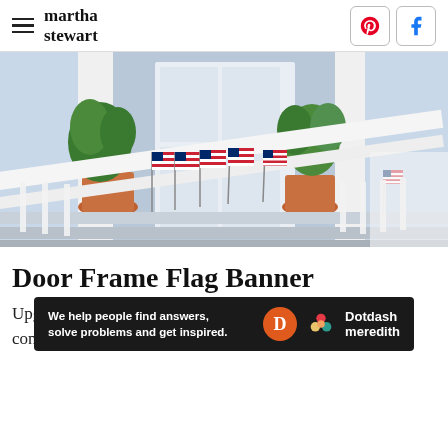martha stewart
[Figure (photo): Porch steps decorated with multiple small American flags planted in terracotta pots with green plants, white railing, and a white door in the background.]
Door Frame Flag Banner
Upgrade your front door with a brilliant fabric banner consisting of American flags. If you have
[Figure (other): Dotdash Meredith advertisement banner: 'We help people find answers, solve problems and get inspired.']